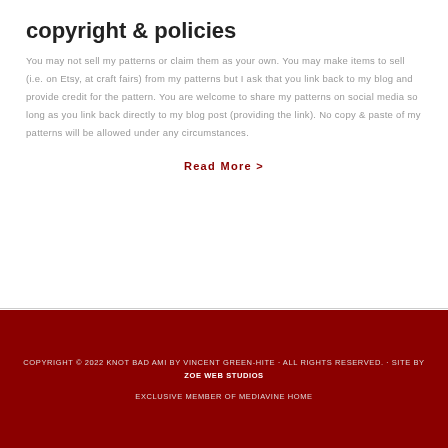copyright & policies
You may not sell my patterns or claim them as your own. You may make items to sell (i.e. on Etsy, at craft fairs) from my patterns but I ask that you link back to my blog and provide credit for the pattern. You are welcome to share my patterns on social media so long as you link back directly to my blog post (providing the link). No copy & paste of my patterns will be allowed under any circumstances.
Read More >
COPYRIGHT © 2022 KNOT BAD AMI BY VINCENT GREEN-HITE · ALL RIGHTS RESERVED. · SITE BY ZOE WEB STUDIOS
EXCLUSIVE MEMBER OF MEDIAVINE HOME